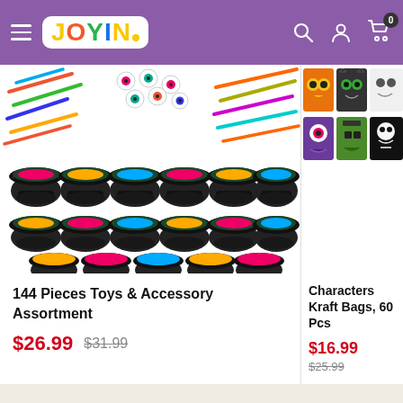JOYIN
[Figure (photo): 144 pieces of Halloween toys and accessory assortment including cauldrons filled with candy, colorful eyeballs, worms, and other Halloween toys arranged in a grid]
144 Pieces Toys & Accessory Assortment
$26.99  $31.99
[Figure (photo): Halloween Characters Kraft Paper Gift Bags with characters including owl, black cat, ghost, purple monster, Frankenstein, and skeleton - 60 Pcs]
Characters Kraft Bags, 60 Pcs
$16.99  $25.99
Customer Reviews